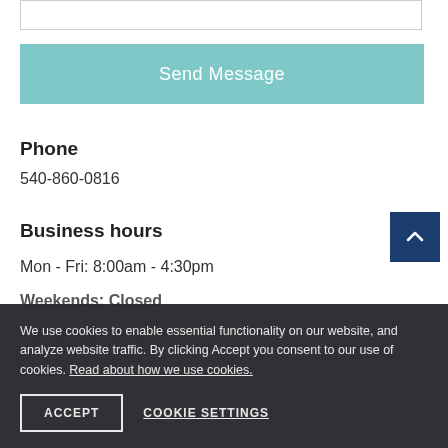[Figure (screenshot): Input text box (top of page, partially visible)]
Send Message
Phone
540-860-0816
Business hours
Mon - Fri: 8:00am - 4:30pm
Weekends: Closed
GET DIRECTIONS
We use cookies to enable essential functionality on our website, and analyze website traffic. By clicking Accept you consent to our use of cookies. Read about how we use cookies.
ACCEPT
COOKIE SETTINGS